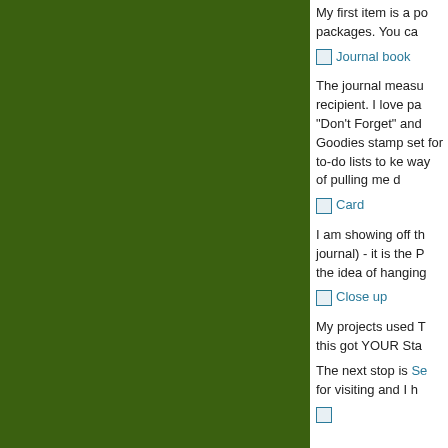[Figure (illustration): Large dark green rectangular panel on the left side of the page]
My first item is a po packages.  You ca
[Figure (illustration): Broken image placeholder with alt text 'Journal book' shown as a link]
The journal measu recipient.  I love pa "Don't Forget" and Goodies stamp set for to-do lists to ke way of pulling me d
[Figure (illustration): Broken image placeholder with alt text 'Card' shown as a link]
I am showing off th journal) - it is the P the idea of hanging
[Figure (illustration): Broken image placeholder with alt text 'Close up' shown as a link]
My projects used T this got YOUR Sta
The next stop is Se for visiting and  I h
[Figure (illustration): Partially visible broken image placeholder at the bottom]